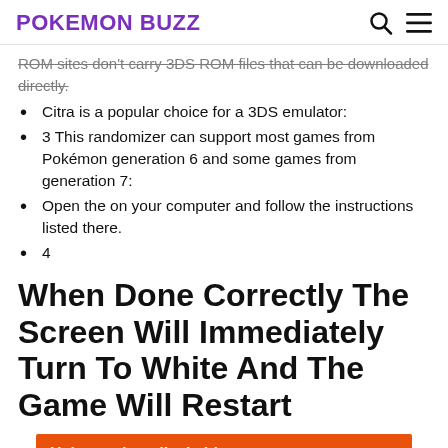POKEMON BUZZ
ROM sites don't carry 3DS ROM files that can be downloaded directly.
Citra is a popular choice for a 3DS emulator:
3 This randomizer can support most games from Pokémon generation 6 and some games from generation 7:
Open the on your computer and follow the instructions listed there.
4
When Done Correctly The Screen Will Immediately Turn To White And The Game Will Restart
[Figure (other): Direct Relief advertisement banner: orange background with text 'Help send medical aid to Ukraine >>' and Direct Relief logo on the right]